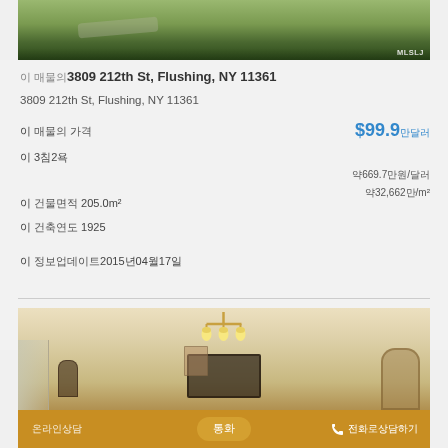[Figure (photo): Aerial/exterior view of property with greenery, trees and driveway visible from above. MLS watermark in bottom right corner.]
이 매물의3809 212th St, Flushing, NY 11361
3809 212th St, Flushing, NY 11361
이 매물의 가격
$99.9만달러
이 3침2욕
약669.7만원/달러
이 건물면적 205.0m²
약32,662만/m²
이 건축연도 1925
이 정보업데이트2015년04월17일
[Figure (photo): Interior photo of living/dining room with chandelier, curtains, clock, arched doorway, TV and decorative items.]
온라인상담
통화
전화로상담하기